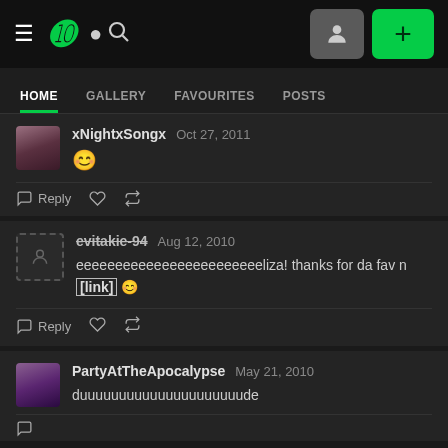DeviantArt navigation bar with hamburger menu, logo, search, avatar button, and plus button
HOME | GALLERY | FAVOURITES | POSTS
xNightxSongx  Oct 27, 2011  😊  Reply
evitakie-94  Aug 12, 2010  eeeeeeeeeeeeeeeeeeeeeeeeliza! thanks for da fav n [link] 😊  Reply
PartyAtTheApocalypse  May 21, 2010  duuuuuuuuuuuuuuuuuuuuude  Reply